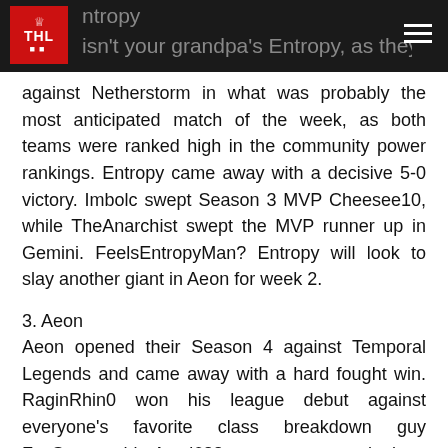ntropy — isn't your grandpa's Entropy, as they faced…
against Netherstorm in what was probably the most anticipated match of the week, as both teams were ranked high in the community power rankings. Entropy came away with a decisive 5-0 victory. Imbolc swept Season 3 MVP Cheesee10, while TheAnarchist swept the MVP runner up in Gemini. FeelsEntropyMan? Entropy will look to slay another giant in Aeon for week 2.
3. Aeon
Aeon opened their Season 4 against Temporal Legends and came away with a hard fought win. RaginRhin0 won his league debut against everyone's favorite class breakdown guy FezSama, whie Astei688 came on as a substitute for dotDark and secured an important 3-0 win over LochnessH. As mentioned above, Aeon has a